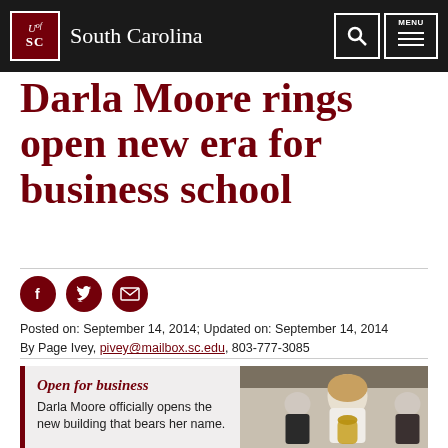South Carolina
Darla Moore rings open new era for business school
[Figure (other): Social media sharing icons: Facebook, Twitter, Email]
Posted on: September 14, 2014; Updated on: September 14, 2014
By Page Ivey, pivey@mailbox.sc.edu, 803-777-3085
Open for business
Darla Moore officially opens the new building that bears her name.
[Figure (photo): Darla Moore ringing a bell at the opening ceremony of the new building, with other people seated in the background]